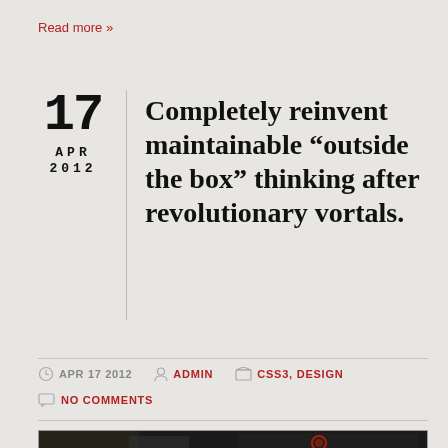Read more »
Completely reinvent maintainable “outside the box” thinking after revolutionary vortals.
APR 17 2012  ADMIN  CSS3, DESIGN  NO COMMENTS
[Figure (photo): Dark photograph of a black sports car (likely a Nissan GT-R) at night with red wheel detail visible, trees and building in background]